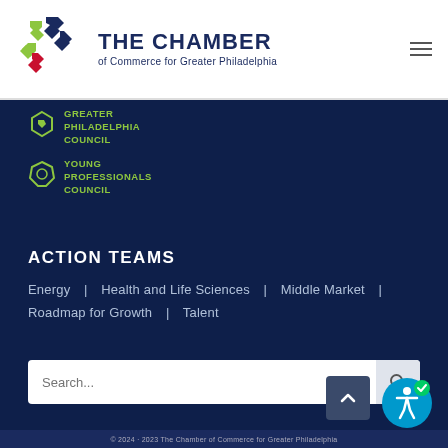[Figure (logo): The Chamber of Commerce for Greater Philadelphia logo with colorful star mark]
[Figure (logo): Greater Philadelphia Council logo with star icon in green]
[Figure (logo): Young Professionals Council logo with hexagon icon in green]
ACTION TEAMS
Energy | Health and Life Sciences | Middle Market | Roadmap for Growth | Talent
Search...
© 2024 · 2023 The Chamber of Commerce for Greater Philadelphia